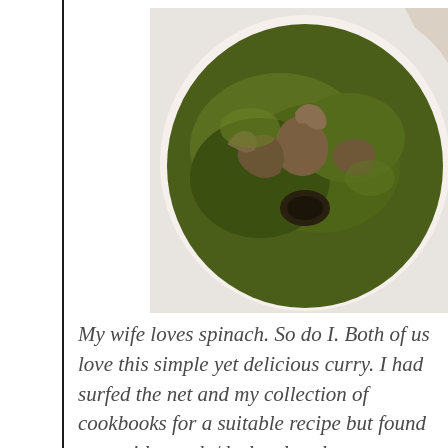[Figure (photo): A white bowl filled with a dark green spinach curry dish with pieces of meat/bone visible on top, photographed from above at a slight angle.]
My wife loves spinach. So do I. Both of us love this simple yet delicious curry. I had surfed the net and my collection of cookbooks for a suitable recipe but found most either pale/dark colored or too greasy or just too convoluted. This recipe is my own concoction out of the